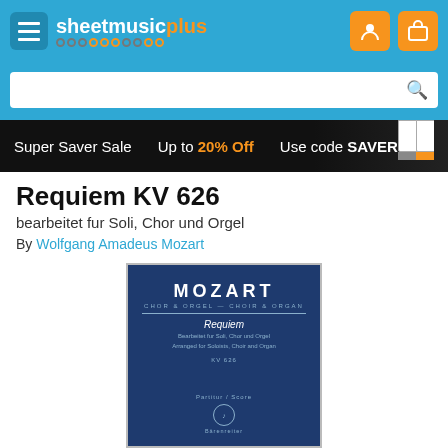sheetmusicplus
[Figure (screenshot): Search bar with blue background and magnifying glass icon]
[Figure (infographic): Super Saver Sale banner: Up to 20% Off Use code SAVER]
Requiem KV 626
bearbeitet fur Soli, Chor und Orgel
By Wolfgang Amadeus Mozart
[Figure (photo): Sheet music book cover: Mozart Requiem, Chor & Orgel – Choir & Organ, Bearbeitet fur Soli, Chor und Orgel / Arranged for Soloists, Choir and Organ, KV 626, Partitur / Score, Bärenreiter logo]